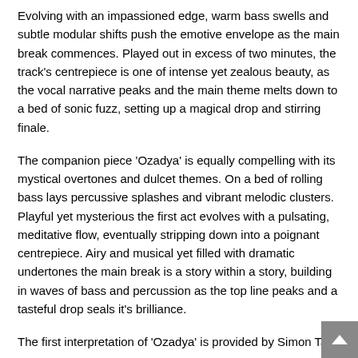Evolving with an impassioned edge, warm bass swells and subtle modular shifts push the emotive envelope as the main break commences. Played out in excess of two minutes, the track's centrepiece is one of intense yet zealous beauty, as the vocal narrative peaks and the main theme melts down to a bed of sonic fuzz, setting up a magical drop and stirring finale.
The companion piece 'Ozadya' is equally compelling with its mystical overtones and dulcet themes. On a bed of rolling bass lays percussive splashes and vibrant melodic clusters. Playful yet mysterious the first act evolves with a pulsating, meditative flow, eventually stripping down into a poignant centrepiece. Airy and musical yet filled with dramatic undertones the main break is a story within a story, building in waves of bass and percussion as the top line peaks and a tasteful drop seals it's brilliance.
The first interpretation of 'Ozadya' is provided by Simon Tasi...